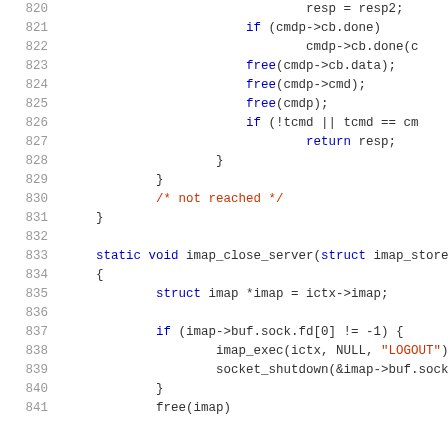Source code listing lines 820-841, C programming language, imap client code